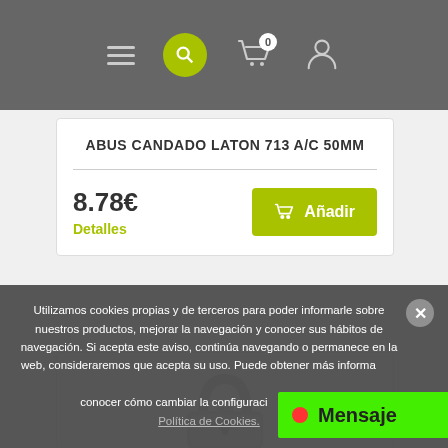Navigation bar with hamburger menu, search button, cart (0), and user icon
ABUS CANDADO LATON 713 A/C 50MM
8.78€
Detalles
[Figure (photo): Product card with add to cart button (Añadir)]
[Figure (photo): Second product card showing a padlock image]
Utilizamos cookies propias y de terceros para poder informarle sobre nuestros productos, mejorar la navegación y conocer sus hábitos de navegación. Si acepta este aviso, continúa navegando o permanece en la web, consideraremos que acepta su uso. Puede obtener más información y conocer cómo cambiar la configuración en nuestra Política de Cookies.